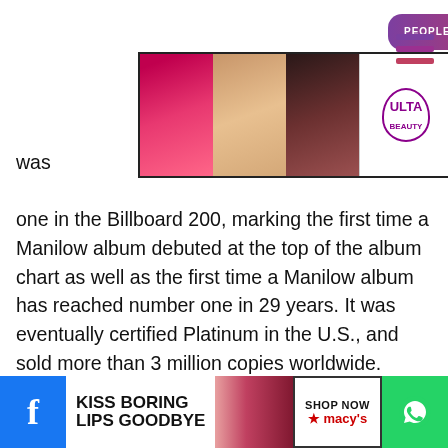[Figure (screenshot): Top banner advertisement for Ulta Beauty featuring close-up photos of faces with makeup, the Ulta logo, and a 'Shop Now' button]
[Figure (screenshot): Hamburger menu icon (three horizontal lines in purple/red) in top right corner]
was one in the Billboard 200, marking the first time a Manilow album debuted at the top of the album chart as well as the first time a Manilow album has reached number one in 29 years. It was eventually certified Platinum in the U.S., and sold more than 3 million copies worldwide.
In March 200 Passion, a Hil network's fun for two Emmys, w Performance
[Figure (screenshot): Cookie consent popup with gradient purple-to-pink background. Text: 'This website uses cookies to ensure you get the best experience on our website. Learn more' with a 'Got it!' button.]
[Figure (screenshot): Bottom banner advertisement: Facebook icon on left, 'Kiss Boring Lips Goodbye' text, image of lips, Macy's star logo, WhatsApp icon on right]